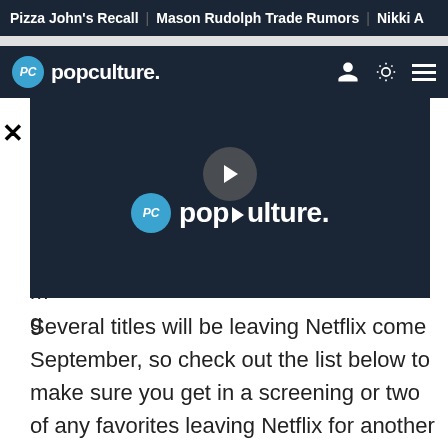Pizza John's Recall | Mason Rudolph Trade Rumors | Nikki A
PC popculture.
[Figure (screenshot): PopCulture.com video player overlay with logo and play button on dark background]
Several titles will be leaving Netflix come September, so check out the list below to make sure you get in a screening or two of any favorites leaving Netflix for another